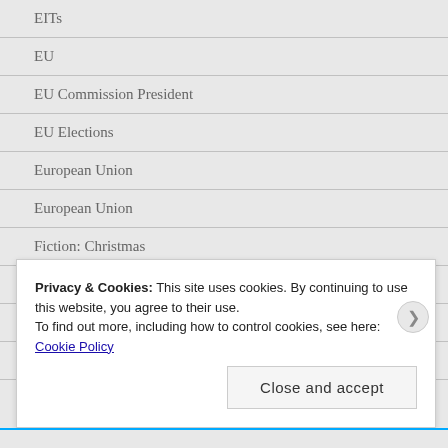EITs
EU
EU Commission President
EU Elections
European Union
European Union
Fiction: Christmas
Fiction:Pakistani Christians
Fiction:Punjab
Fiction:Punjabi Christians
Privacy & Cookies: This site uses cookies. By continuing to use this website, you agree to their use.
To find out more, including how to control cookies, see here: Cookie Policy
Close and accept